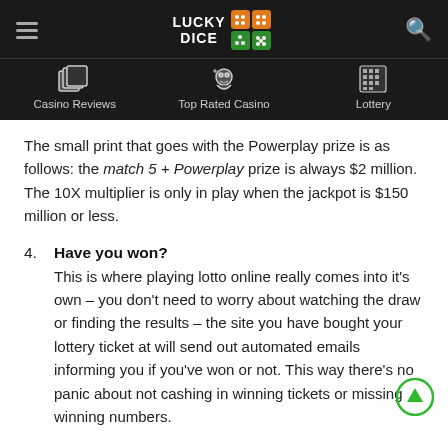Lucky Dice — Casino Reviews | Top Rated Casino | Lottery
The small print that goes with the Powerplay prize is as follows: the match 5 + Powerplay prize is always $2 million. The 10X multiplier is only in play when the jackpot is $150 million or less.
4. Have you won? This is where playing lotto online really comes into it's own – you don't need to worry about watching the draw or finding the results – the site you have bought your lottery ticket at will send out automated emails informing you if you've won or not. This way there's no panic about not cashing in winning tickets or missing winning numbers.